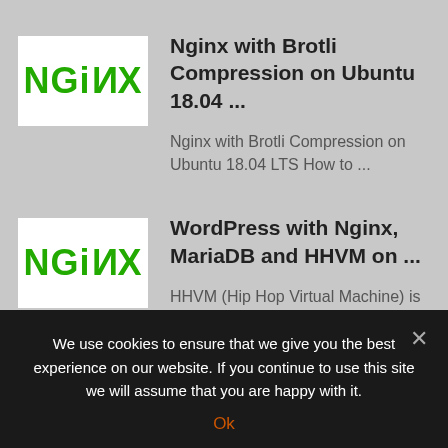[Figure (logo): NGINX logo - white background with green NGINX text]
Nginx with Brotli Compression on Ubuntu 18.04 ...
Nginx with Brotli Compression on Ubuntu 18.04 LTS How to ...
[Figure (logo): NGINX logo - white background with green NGINX text]
WordPress with Nginx, MariaDB and HHVM on ...
HHVM (Hip Hop Virtual Machine) is a just-in-time compiler developed ...
We use cookies to ensure that we give you the best experience on our website. If you continue to use this site we will assume that you are happy with it.